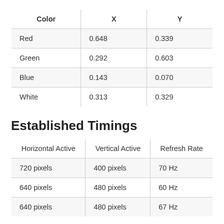| Color | X | Y |
| --- | --- | --- |
| Red | 0.648 | 0.339 |
| Green | 0.292 | 0.603 |
| Blue | 0.143 | 0.070 |
| White | 0.313 | 0.329 |
Established Timings
| Horizontal Active | Vertical Active | Refresh Rate |
| --- | --- | --- |
| 720 pixels | 400 pixels | 70 Hz |
| 640 pixels | 480 pixels | 60 Hz |
| 640 pixels | 480 pixels | 67 Hz |